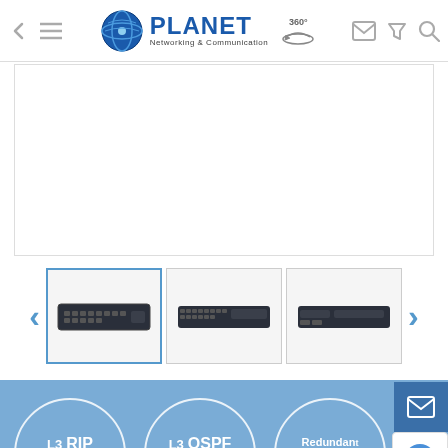PLANET Networking & Communication — navigation bar with back, menu, logo, 360°, mail, filter, search icons
[Figure (photo): Main product image area — white/empty product display frame]
[Figure (photo): Thumbnail strip with 3 network switch images (rack-mount switches, dark chassis), with left/right navigation arrows. First thumbnail is highlighted/selected.]
[Figure (infographic): Blue feature section showing three circular icons: L3 RIP Routing, L3 OSPF Routing, and Redundant Power (partially cut off), on a blue gradient background.]